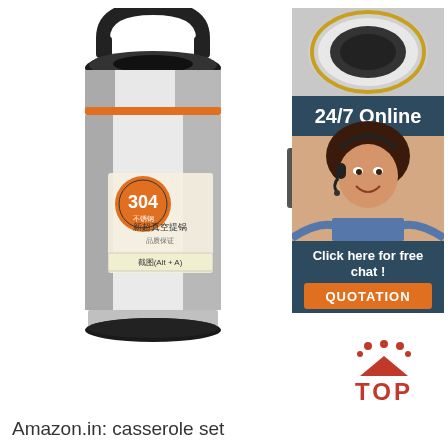[Figure (photo): Large stainless steel vacuum insulated food thermos/casserole with black handle and orange accent ring, showing a label with '304' stainless steel grade marking and Chinese text. The product has a black base and a cylindrical polished silver body.]
[Figure (photo): Side view of a similar stainless steel thermos container showing its stackable/nested compartments, also with an orange label detail.]
[Figure (infographic): 24/7 Online chat support banner with dark teal background showing '24/7 Online' text, a customer service woman with headset photo, 'Click here for free chat!' text, and an orange QUOTATION button.]
[Figure (illustration): Red 'TOP' icon with house/roof shape and dots above it.]
Amazon.in: casserole set